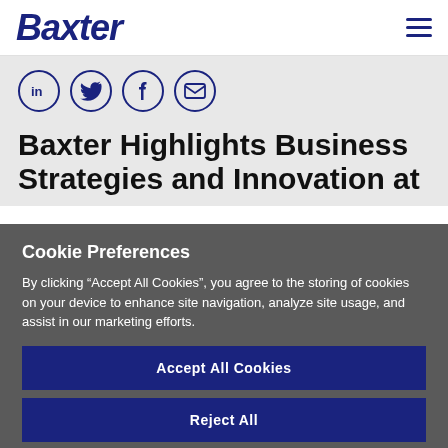Baxter
[Figure (logo): Baxter logo in dark navy blue, bold italic text]
[Figure (infographic): Social media icons: LinkedIn, Twitter, Facebook, Email — circular outlined navy blue icons]
Baxter Highlights Business Strategies and Innovation at
Cookie Preferences
By clicking "Accept All Cookies", you agree to the storing of cookies on your device to enhance site navigation, analyze site usage, and assist in our marketing efforts.
Accept All Cookies
Reject All
Cookies Settings